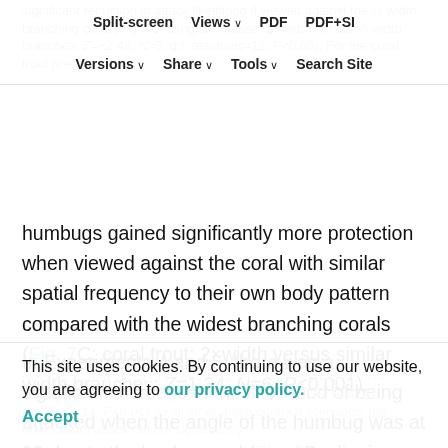Split-screen  Views  PDF  PDF+SI
Versions  Share  Tools  Search Site
significant reduction in attack likelihood if viewed against the ½ width branching coral (Fig. 7C; slingjaw wrasse: 2×width versus ½ width branches: Z=−2.49, N=5, d.f. residuals=12, P<0.05). For the coral trout predator,
humbugs gained significantly more protection when viewed against the coral with similar spatial frequency to their own body pattern compared with the widest branching corals (Fig. 7C; coral trout: 2×width versus similar width branches: Z=1.34, N=6, P<0.001).
In Experiments 4 and 5, there was a significant increase in the likelihood of being attacked when the angle of the humbug was at 90 deg to the background (Fig. 8B; slingjaw wrasse: 90 deg versus 180 deg: Z=2.081, d.f. residuals=2, N=4, P<0.05; coral trout: 90 deg versus 180 deg: Z=2.938, N=4, d.f. residuals=14, P<0.01). In all other angle contrast scenarios, the likelihood of attack did not significantly
This site uses cookies. By continuing to use our website, you are agreeing to our privacy policy.
Accept